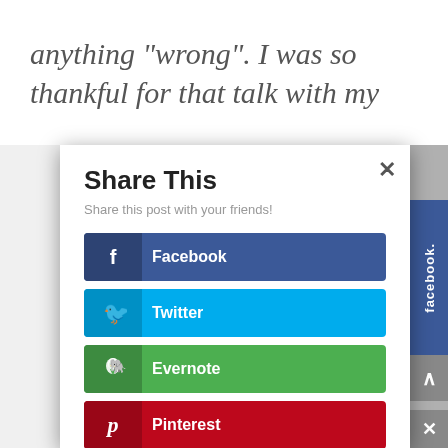anything “wrong”. I was so thankful for that talk with my
[Figure (screenshot): Share This modal dialog with social media share buttons: Facebook (dark blue), Twitter (light blue), Evernote (green), Pinterest (red), Myspace (dark blue), Blogger (orange). Modal has a close X button and subtitle 'Share this post with your friends!']
facebook.